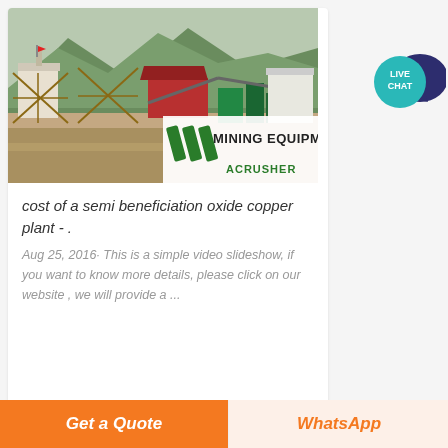[Figure (photo): Mining equipment facility photo showing industrial machinery, conveyor belts, buildings against mountain backdrop, with MINING EQUIPMENT ACRUSHER branding overlay]
cost of a semi beneficiation oxide copper plant - .
Aug 25, 2016· This is a simple video slideshow, if you want to know more details, please click on our website , we will provide a ...
[Figure (other): Live Chat button - teal circle with dark blue speech bubble icon, text LIVE CHAT]
Get a Quote
WhatsApp